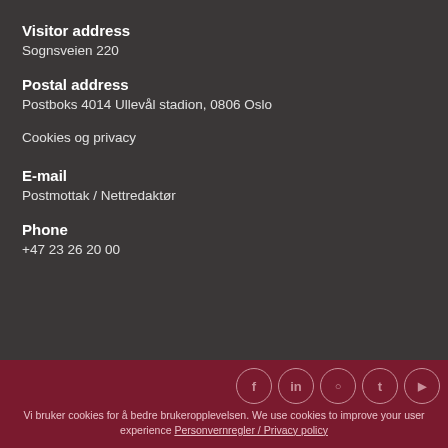Visitor address
Sognsveien 220
Postal address
Postboks 4014 Ullevål stadion, 0806 Oslo
Cookies og privacy
E-mail
Postmottak / Nettredaktør
Phone
+47 23 26 20 00
Vi bruker cookies for å bedre brukeropplevelsen. We use cookies to improve your user experience Personvernregler / Privacy policy